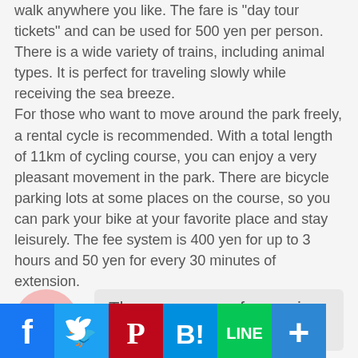walk anywhere you like. The fare is "day tour tickets" and can be used for 500 yen per person. There is a wide variety of trains, including animal types. It is perfect for traveling slowly while receiving the sea breeze. For those who want to move around the park freely, a rental cycle is recommended. With a total length of 11km of cycling course, you can enjoy a very pleasant movement in the park. There are bicycle parking lots at some places on the course, so you can park your bike at your favorite place and stay leisurely. The fee system is 400 yen for up to 3 hours and 50 yen for every 30 minutes of extension.
The one scene of a movie or a drama...
[Figure (other): Social media share buttons: Facebook (blue), Twitter (blue), Pinterest (dark red), Hatena Bookmark (dark red), LINE (green), Plus/More (blue)]